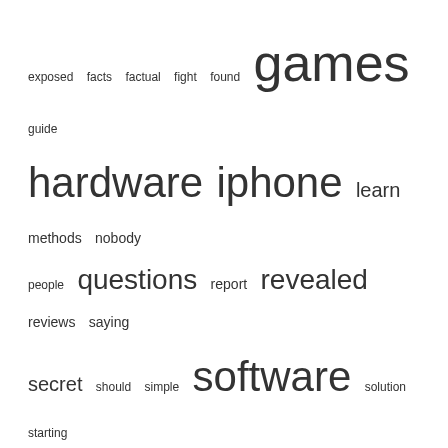exposed  facts  factual  fight  found  games  guide  hardware  iphone  learn  methods  nobody  people  questions  report  revealed  reviews  saying  secret  should  simple  software  solution  starting  statements  techniques  thing  things  today  truth  unanswered  unusual  unveiled
All Rights Reserved 2021. Proudly powered by WordPress | Theme: Fairy Lite by Candid Themes.